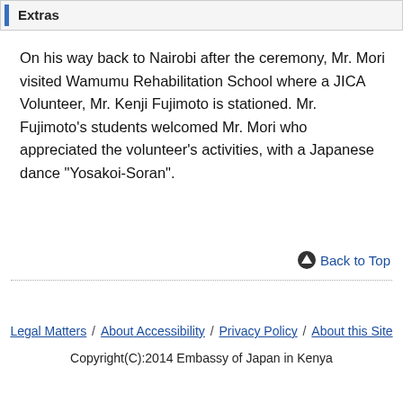Extras
On his way back to Nairobi after the ceremony, Mr. Mori visited Wamumu Rehabilitation School where a JICA Volunteer, Mr. Kenji Fujimoto is stationed. Mr. Fujimoto’s students welcomed Mr. Mori who appreciated the volunteer’s activities, with a Japanese dance “Yosakoi-Soran”.
Legal Matters / About Accessibility / Privacy Policy / About this Site
Copyright(C):2014 Embassy of Japan in Kenya